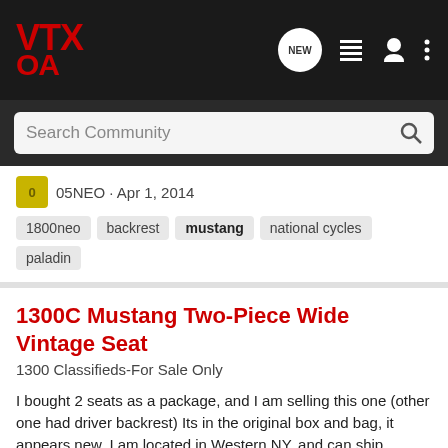VTX OA - Navigation bar with logo, NEW, list, user, and menu icons
Search Community
05NEO · Apr 1, 2014
1800neo  backrest  mustang  national cycles  paladin
1300C Mustang Two-Piece Wide Vintage Seat
1300 Classifieds-For Sale Only
I bought 2 seats as a package, and I am selling this one (other one had driver backrest) Its in the original box and bag, it appears new. I am located in Western NY, and can ship anywhere in the lower 48 for 15.00 These list for 509.00 from mustang and 389.00-449.00 from discount retailers I...
25  4K
Skyrat · Jun 2, 2013
1300  mustang  seat  vtx